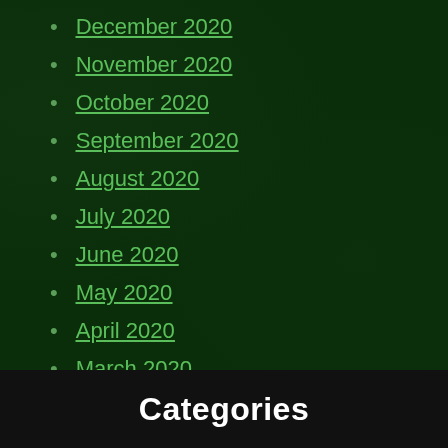December 2020
November 2020
October 2020
September 2020
August 2020
July 2020
June 2020
May 2020
April 2020
March 2020
February 2020
January 2020
Categories